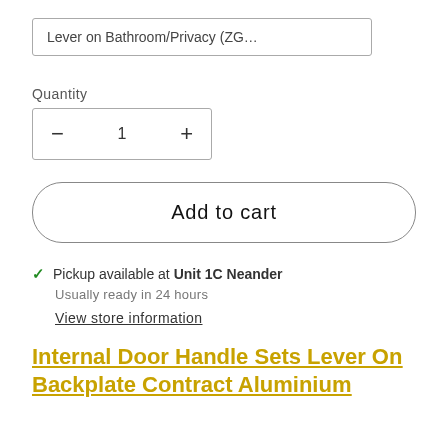Lever on Bathroom/Privacy (ZG…
Quantity
− 1 +
Add to cart
✓ Pickup available at Unit 1C Neander
Usually ready in 24 hours
View store information
Internal Door Handle Sets Lever On Backplate Contract Aluminium